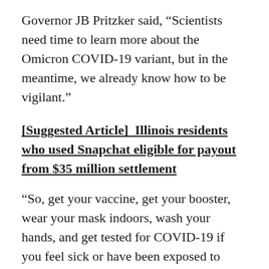Governor JB Pritzker said, “Scientists need time to learn more about the Omicron COVID-19 variant, but in the meantime, we already know how to be vigilant.”
[Suggested Article]  Illinois residents who used Snapchat eligible for payout from $35 million settlement
“So, get your vaccine, get your booster, wear your mask indoors, wash your hands, and get tested for COVID-19 if you feel sick or have been exposed to someone who tested positive,” Pritzker added.